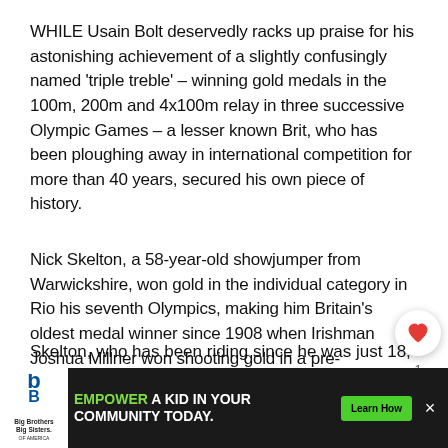WHILE Usain Bolt deservedly racks up praise for his astonishing achievement of a slightly confusingly named 'triple treble' – winning gold medals in the 100m, 200m and 4x100m relay in three successive Olympic Games – a lesser known Brit, who has been ploughing away in international competition for more than 40 years, secured his own piece of history.
Nick Skelton, a 58-year-old showjumper from Warwickshire, won gold in the individual category in Rio his seventh Olympics, making him Britain's oldest medal winner since 1908 when Irishman Joshua Millner won shooting gold in a pre-independence team.
Skelton, who has been riding since he was just 18...
[Figure (other): Advertisement banner for Big Brothers Big Sisters of America: 'EMPOWER A KID IN YOUR COMMUNITY TODAY.' with a Learn How button]